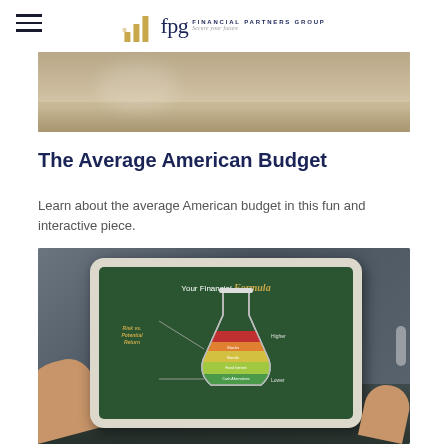fpg Financial Partners Group — Secure your future
[Figure (photo): Close-up photo of hands at a table, partially visible at top of page]
The Average American Budget
Learn about the average American budget in this fun and interactive piece.
[Figure (photo): Person holding a tablet displaying 'Your Financial Formula' with a beaker diagram showing Risk vs. Potential Return layers including Stocks, Bonds, Fixed Interest, Cash Alternatives]